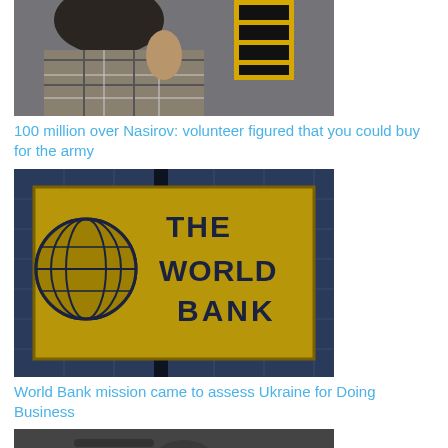[Figure (photo): Photo of a person wearing a plaid/check pattern jacket, with a yellow and black object visible in background]
100 million over Nasirov: volunteer figured that you could buy for the army
[Figure (photo): Photo of The World Bank logo/sign — gold text reading 'THE WORLD BANK' with globe icon on dark background]
World Bank mission came to assess Ukraine for Doing Business
[Figure (photo): Partial photo visible at bottom of page, dark tones]